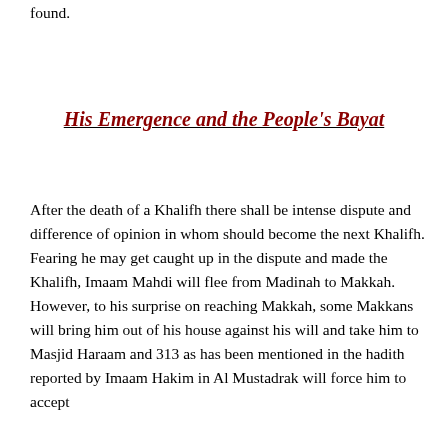found.
His Emergence and the People's Bayat
After the death of a Khalifh there shall be intense dispute and difference of opinion in whom should become the next Khalifh. Fearing he may get caught up in the dispute and made the Khalifh, Imaam Mahdi will flee from Madinah to Makkah. However, to his surprise on reaching Makkah, some Makkans will bring him out of his house against his will and take him to Masjid Haraam and 313 as has been mentioned in the hadith reported by Imaam Hakim in Al Mustadrak will force him to accept...